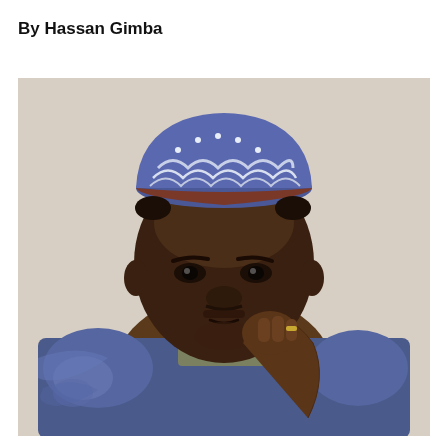By Hassan Gimba
[Figure (photo): Portrait photograph of Hassan Gimba, a middle-aged African man wearing a blue embroidered traditional Nigerian attire (senator/agbada style) and a blue-and-white patterned cap (fila). He is resting his chin on his right hand, looking directly at the camera with a composed expression. The background is a plain light beige/cream color.]